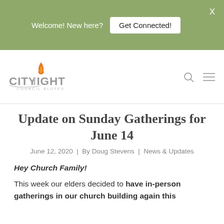Welcome! New here? | Get Connected! | X
[Figure (logo): CityLight Council Bluffs church logo with orange flame icon above stylized text]
Update on Sunday Gatherings for June 14
June 12, 2020 | By Doug Stevens | News & Updates
Hey Church Family!
This week our elders decided to have in-person gatherings in our church building again this